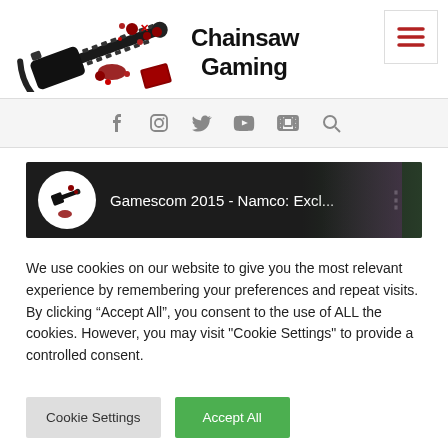[Figure (logo): Hamburger menu icon (three horizontal lines in red) inside a white bordered box, top right corner]
[Figure (logo): ChainSaw Gaming logo: chainsaw illustration with blood splatter on left, bold text 'ChainSaw Gaming' on right]
[Figure (infographic): Navigation bar with social media icons: Facebook, Instagram, Twitter, YouTube, film strip, and search magnifier]
[Figure (screenshot): YouTube video thumbnail strip showing ChainSaw Gaming avatar and title 'Gamescom 2015 - Namco: Excl...' on dark background]
We use cookies on our website to give you the most relevant experience by remembering your preferences and repeat visits. By clicking “Accept All”, you consent to the use of ALL the cookies. However, you may visit "Cookie Settings" to provide a controlled consent.
Cookie Settings
Accept All